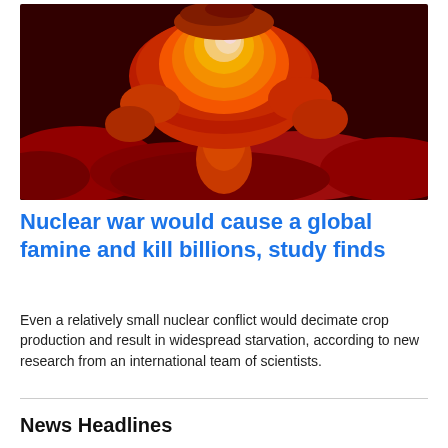[Figure (photo): Large nuclear explosion mushroom cloud with bright orange and yellow fireball rising over red smoke and flames]
Nuclear war would cause a global famine and kill billions, study finds
Even a relatively small nuclear conflict would decimate crop production and result in widespread starvation, according to new research from an international team of scientists.
News Headlines